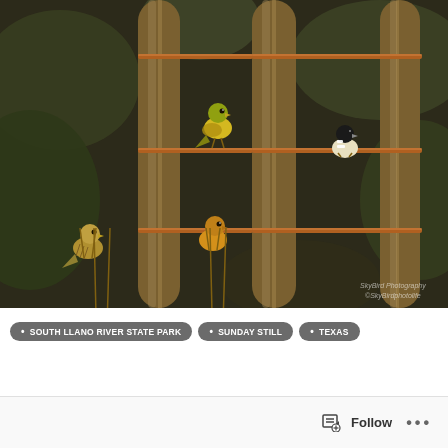[Figure (photo): A photograph of multiple small birds (goldfinches and siskins) perched on copper rod bars of a cylindrical bird feeder, with a blurred dark green background. A watermark reads 'SkyBird Photography' in the lower right corner.]
SOUTH LLANO RIVER STATE PARK
SUNDAY STILL
TEXAS
Follow ...